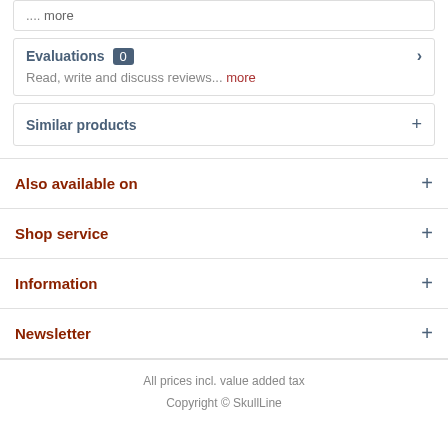.... more
Evaluations 0
Read, write and discuss reviews... more
Similar products
Also available on
Shop service
Information
Newsletter
All prices incl. value added tax
Copyright © SkullLine